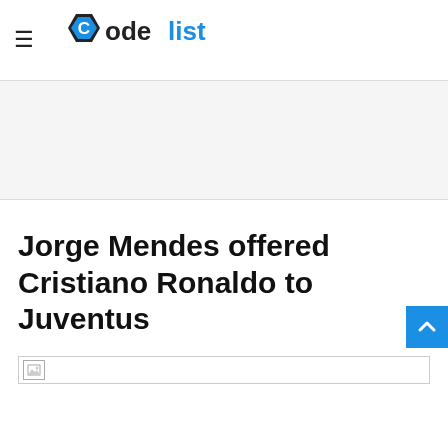[Figure (logo): CodeList website logo with hamburger menu icon on the left and the CodeList brand logo in black and blue on the right]
[Figure (other): Advertisement banner area, gray background]
Jorge Mendes offered Cristiano Ronaldo to Juventus
[Figure (other): Broken image placeholder at the bottom of the article section]